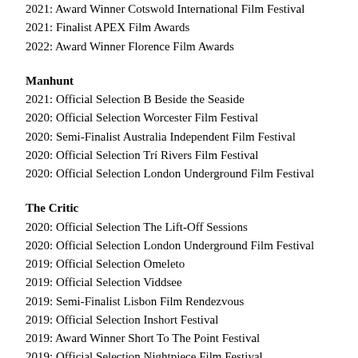2021: Award Winner Cotswold International Film Festival
2021: Finalist APEX Film Awards
2022: Award Winner Florence Film Awards
Manhunt
2021: Official Selection B Beside the Seaside
2020: Official Selection Worcester Film Festival
2020: Semi-Finalist Australia Independent Film Festival
2020: Official Selection Trí Rivers Film Festival
2020: Official Selection London Underground Film Festival
The Critic
2020: Official Selection The Lift-Off Sessions
2020: Official Selection London Underground Film Festival
2019: Official Selection Omeleto
2019: Official Selection Viddsee
2019: Semi-Finalist Lisbon Film Rendezvous
2019: Official Selection Inshort Festival
2019: Award Winner Short To The Point Festival
2019: Official Selection Nightpiece Film Festival
2019: Award Winner Kinno Moscow